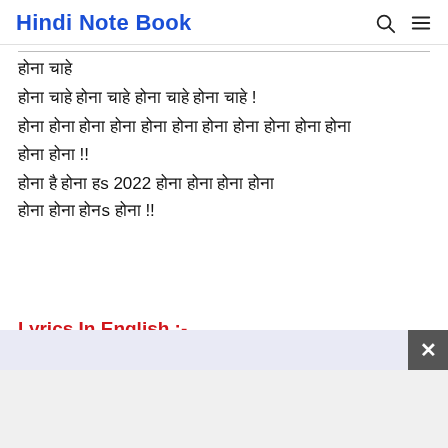Hindi Note Book
होना चाहे ! होना चाहिए पर होना चाहिए होना होना !!
होना है होना हs 2022 होना होना होना होना होना होनs होना !!
Lyrics In English :-